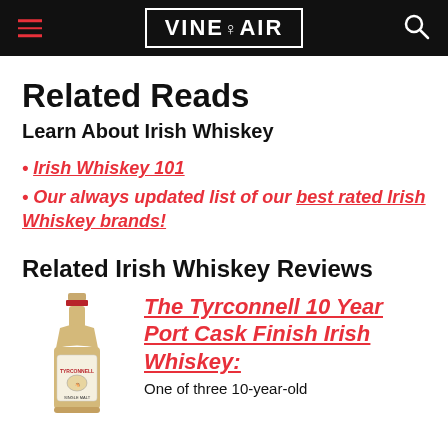VINEPAIR
Related Reads
Learn About Irish Whiskey
• Irish Whiskey 101
• Our always updated list of our best rated Irish Whiskey brands!
Related Irish Whiskey Reviews
[Figure (photo): Bottle of Tyrconnell Irish whiskey]
The Tyrconnell 10 Year Port Cask Finish Irish Whiskey: One of three 10-year-old